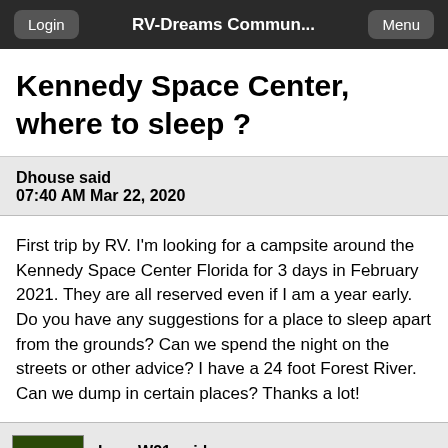Login  RV-Dreams Commun...  Menu
Kennedy Space Center, where to sleep ?
Dhouse said
07:40 AM Mar 22, 2020
First trip by RV. I'm looking for a campsite around the Kennedy Space Center Florida for 3 days in February 2021. They are all reserved even if I am a year early. Do you have any suggestions for a place to sleep apart from the grounds? Can we spend the night on the streets or other advice? I have a 24 foot Forest River. Can we dump in certain places? Thanks a lot!
LarryW21 said
07:58 AM Mar 22, 2020